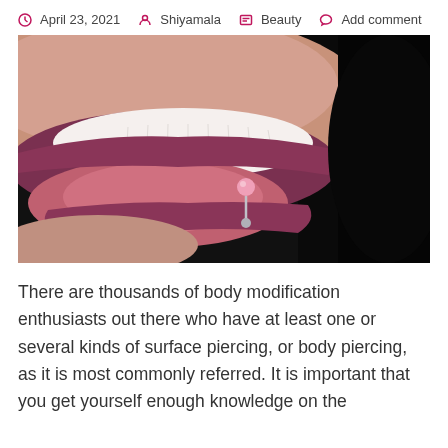April 23, 2021  Shiyamala  Beauty  Add comment
[Figure (photo): Close-up photo of a woman's mouth with lips open showing teeth and tongue with a pink ball tongue piercing and a lower lip piercing stud, against a dark background.]
There are thousands of body modification enthusiasts out there who have at least one or several kinds of surface piercing, or body piercing, as it is most commonly referred. It is important that you get yourself enough knowledge on the